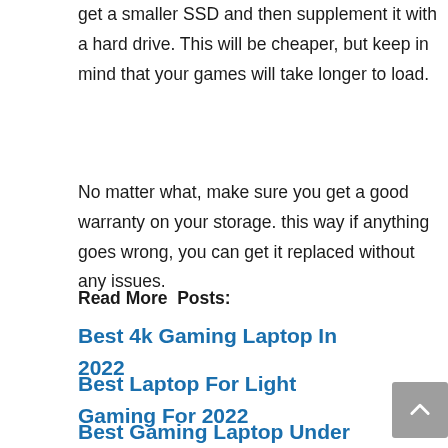get a smaller SSD and then supplement it with a hard drive. This will be cheaper, but keep in mind that your games will take longer to load.
No matter what, make sure you get a good warranty on your storage. this way if anything goes wrong, you can get it replaced without any issues.
Read More  Posts:
Best 4k Gaming Laptop In 2022
Best Laptop For Light Gaming For 2022
Best Gaming Laptop Under 300 For 2022